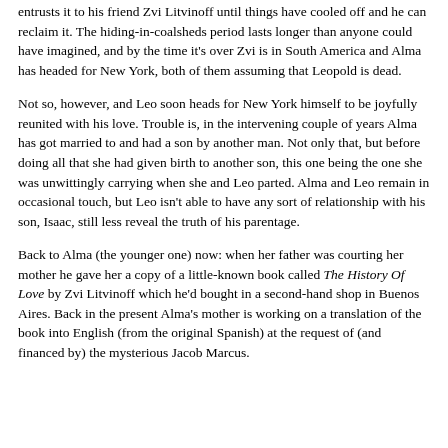entrusts it to his friend Zvi Litvinoff until things have cooled off and he can reclaim it. The hiding-in-coalsheds period lasts longer than anyone could have imagined, and by the time it's over Zvi is in South America and Alma has headed for New York, both of them assuming that Leopold is dead.
Not so, however, and Leo soon heads for New York himself to be joyfully reunited with his love. Trouble is, in the intervening couple of years Alma has got married to and had a son by another man. Not only that, but before doing all that she had given birth to another son, this one being the one she was unwittingly carrying when she and Leo parted. Alma and Leo remain in occasional touch, but Leo isn't able to have any sort of relationship with his son, Isaac, still less reveal the truth of his parentage.
Back to Alma (the younger one) now: when her father was courting her mother he gave her a copy of a little-known book called The History Of Love by Zvi Litvinoff which he'd bought in a second-hand shop in Buenos Aires. Back in the present Alma's mother is working on a translation of the book into English (from the original Spanish) at the request of (and financed by) the mysterious Jacob Marcus.